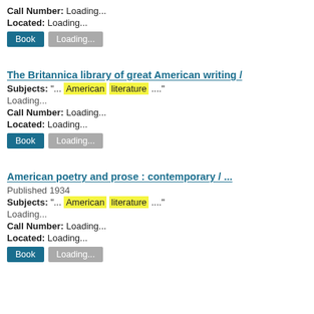Call Number: Loading...
Located: Loading...
Book  Loading...
The Britannica library of great American writing /
Subjects: "... American literature ...."
Loading...
Call Number: Loading...
Located: Loading...
Book  Loading...
American poetry and prose : contemporary /
Published 1934
Subjects: "... American literature ...."
Loading...
Call Number: Loading...
Located: Loading...
Book  Loading...